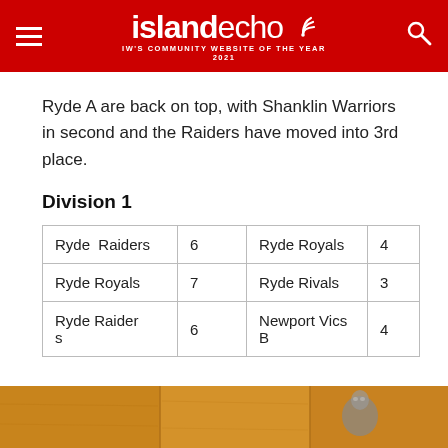islandecho – IW's Community Website of the Year 2021
Ryde A are back on top, with Shanklin Warriors in second and the Raiders have moved into 3rd place.
Division 1
| Ryde Raiders | 6 | Ryde Royals | 4 |
| Ryde Royals | 7 | Ryde Rivals | 3 |
| Ryde Raiders | 6 | Newport Vics B | 4 |
[Figure (photo): Bottom strip showing wooden panel background with a person visible at the right side]